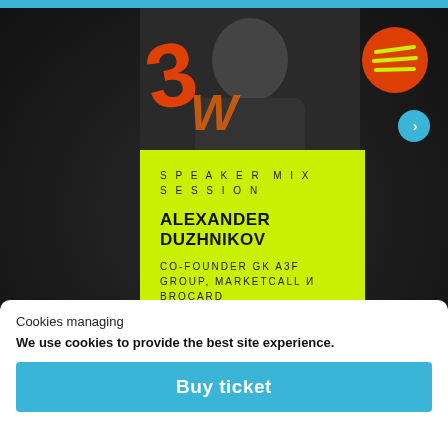[Figure (photo): Person in dark blazer with orange graffiti/graphic overlay on the left side of the photo]
[Figure (logo): Spotify-like logo: orange circle with green horizontal lines in top right corner]
SPEAKER MIX SESSION
ALEXANDER DUZHNIKOV
CO-FOUNDER GK A3F GROUP, MARKETCALL И BROCARD
Cookies managing
We use cookies to provide the best site experience.
Buy ticket